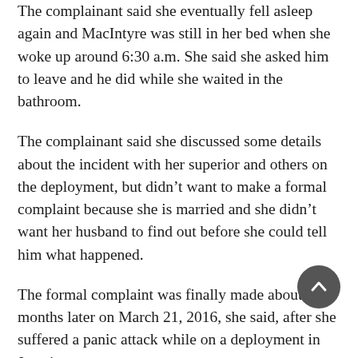The complainant said she eventually fell asleep again and MacIntyre was still in her bed when she woke up around 6:30 a.m. She said she asked him to leave and he did while she waited in the bathroom.
The complainant said she discussed some details about the incident with her superior and others on the deployment, but didn't want to make a formal complaint because she is married and she didn't want her husband to find out before she could tell him what happened.
The formal complaint was finally made about six months later on March 21, 2016, she said, after she suffered a panic attack while on a deployment in Jamaica.
“This trip to Montego Bay was the best thing that could happen because it made me realize that I can’t live like that